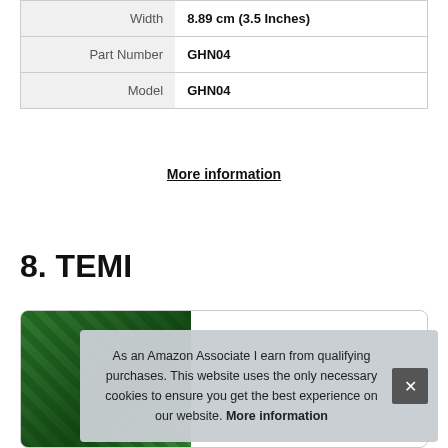| Attribute | Value |
| --- | --- |
| Width | 8.89 cm (3.5 Inches) |
| Part Number | GHN04 |
| Model | GHN04 |
More information
8. TEMI
[Figure (photo): Product card showing a TEMI item with green foliage/plant imagery]
As an Amazon Associate I earn from qualifying purchases. This website uses the only necessary cookies to ensure you get the best experience on our website. More information